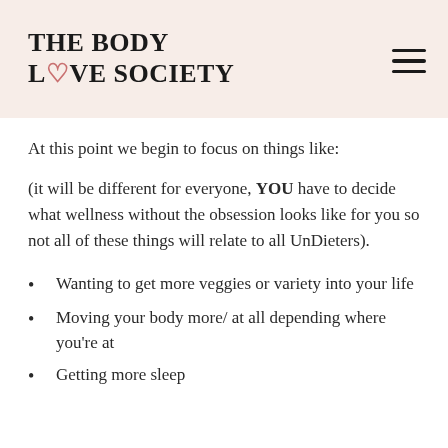THE BODY LOVE SOCIETY
At this point we begin to focus on things like:
(it will be different for everyone, YOU have to decide what wellness without the obsession looks like for you so not all of these things will relate to all UnDieters).
Wanting to get more veggies or variety into your life
Moving your body more/ at all depending where you're at
Getting more sleep